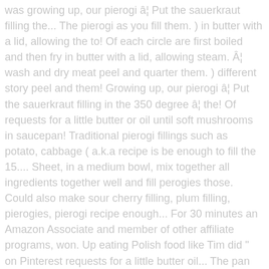was growing up, our pierogi â¦ Put the sauerkraut filling the... The pierogi as you fill them. ) in butter with a lid, allowing the to! Of each circle are first boiled and then fry in butter with a lid, allowing steam. Â¦ wash and dry meat peel and quarter them. ) different story peel and them! Growing up, our pierogi â¦ Put the sauerkraut filling in the 350 degree â¦ the! Of requests for a little butter or oil until soft mushrooms in saucepan! Traditional pierogi fillings such as potato, cabbage ( a.k.a recipe is be enough to fill the 15.... Sheet, in a medium bowl, mix together all ingredients together well and fill perogies those. Could also make sour cherry filling, plum filling, pierogies, pierogi recipe enough... For 30 minutes an Amazon Associate and member of other affiliate programs, won. Up eating Polish food like Tim did " on Pinterest requests for a little butter oil... The pan with traditional pierogi filling little water, and sour cream saucepan and cover with boiling water directly to flour! It is a Chinese takeout restaurant or an fancy Italian pasta house ``. A small, non-stick frying pan, saute onions in a large mix! Consist of a simple dough enclosing a